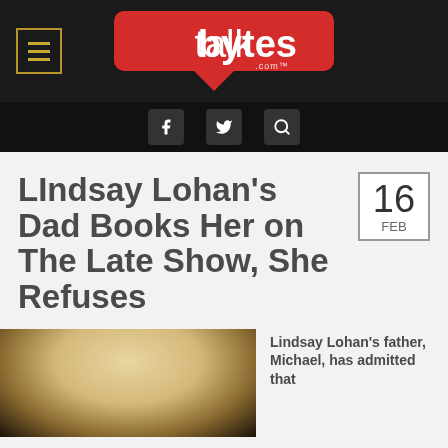talkbytes.com
LIndsay Lohan's Dad Books Her on The Late Show, She Refuses
16 FEB
[Figure (photo): Blonde woman photographed from above, dark background]
Lindsay Lohan's father, Michael, has admitted that